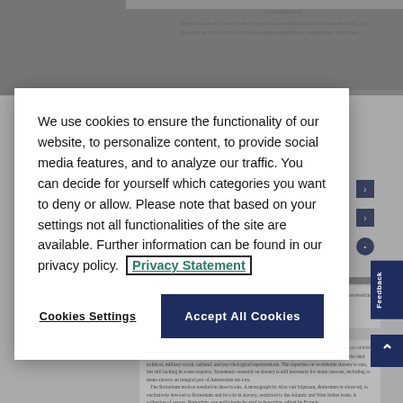[Figure (screenshot): Background page content partially visible behind modal overlay, showing academic journal page content and navigation elements]
We use cookies to ensure the functionality of our website, to personalize content, to provide social media features, and to analyze our traffic. You can decide for yourself which categories you want to deny or allow. Please note that based on your settings not all functionalities of the site are available. Further information can be found in our privacy policy.  Privacy Statement
Cookies Settings
Accept All Cookies